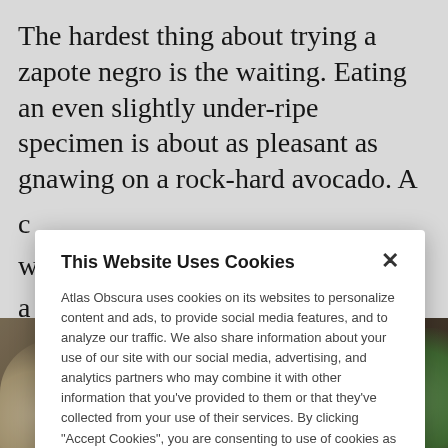The hardest thing about trying a zapote negro is the waiting. Eating an even slightly under-ripe specimen is about as pleasant as gnawing on a rock-hard avocado. A
[Figure (photo): Bottom portion of webpage showing a food image with a 'View This Trip' button overlay]
This Website Uses Cookies

Atlas Obscura uses cookies on its websites to personalize content and ads, to provide social media features, and to analyze our traffic. We also share information about your use of our site with our social media, advertising, and analytics partners who may combine it with other information that you've provided to them or that they've collected from your use of their services. By clicking "Accept Cookies", you are consenting to use of cookies as described in our Cookie Policy. View Cookie Policy